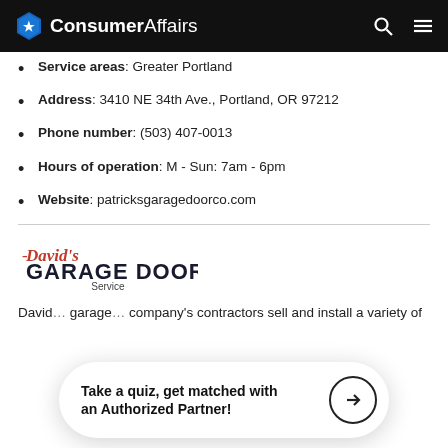ConsumerAffairs
Service areas: Greater Portland
Address: 3410 NE 34th Ave., Portland, OR 97212
Phone number: (503) 407-0013
Hours of operation: M - Sun: 7am - 6pm
Website: patricksgaragedoorco.com
[Figure (logo): David's Garage Doors Service logo]
David's Garage Doors Service company's contractors sell and install a variety of garage doors.
Take a quiz, get matched with an Authorized Partner!